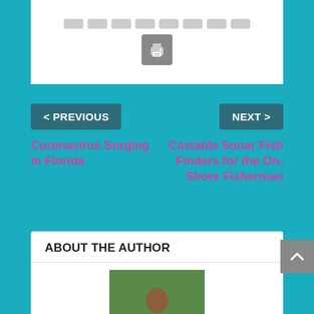[Figure (other): Print icon button — square gray button with a printer icon]
< PREVIOUS
Coronavirus Surging in Florida
NEXT >
Castable Sonar Fish Finders for the On-Shore Fisherman
ABOUT THE AUTHOR
[Figure (photo): Photo of Santino DeBlasiis crouching outdoors with a dog, in a garden setting]
Santino DeBlasiis
Rome, New York born and bred. Strong Italian